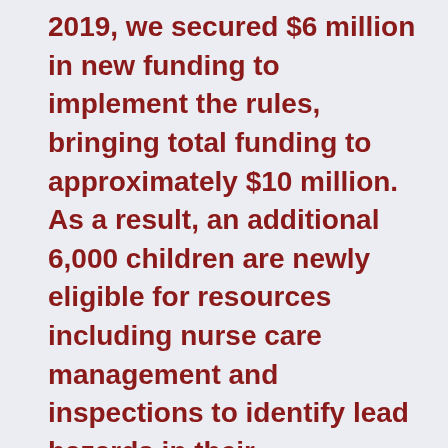2019, we secured $6 million in new funding to implement the rules, bringing total funding to approximately $10 million. As a result, an additional 6,000 children are newly eligible for resources including nurse care management and inspections to identify lead hazards in their environments.